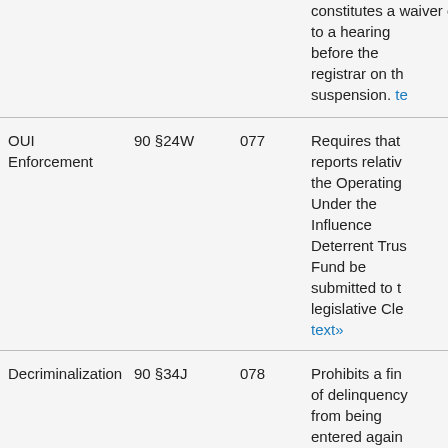| Category | Statute | Code | Description |
| --- | --- | --- | --- |
|  |  |  | constitutes a waiver of a right to a hearing before the registrar on the suspension. text» |
| OUI Enforcement | 90 §24W | 077 | Requires that reports relative the Operating Under the Influence Deterrent Trust Fund be submitted to the legislative Cle... text» |
| Decriminalization | 90 §34J | 078 | Prohibits a finding of delinquency from being entered again... |